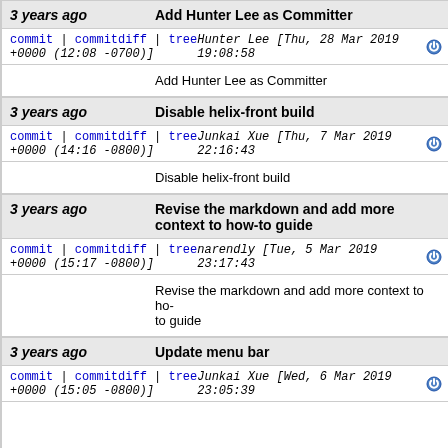3 years ago | Add Hunter Lee as Committer | Hunter Lee [Thu, 28 Mar 2019 19:08:58 +0000 (12:08 -0700)] | Add Hunter Lee as Committer
3 years ago | Disable helix-front build | Junkai Xue [Thu, 7 Mar 2019 22:16:43 +0000 (14:16 -0800)] | Disable helix-front build
3 years ago | Revise the markdown and add more context to how-to guide | narendly [Tue, 5 Mar 2019 23:17:43 +0000 (15:17 -0800)] | Revise the markdown and add more context to how-to guide
3 years ago | Update menu bar | Junkai Xue [Wed, 6 Mar 2019 23:05:39 +0000 (15:05 -0800)]